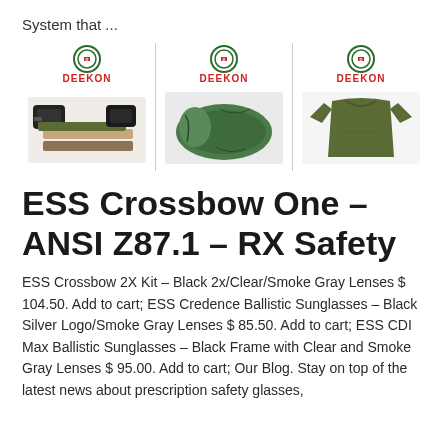System that ...
[Figure (photo): Three product images with DEEKON branding: tactical belts/buckles on left, green sleeping bag in center, olive military t-shirt on right]
ESS Crossbow One – ANSI Z87.1 – RX Safety
ESS Crossbow 2X Kit – Black 2x/Clear/Smoke Gray Lenses $ 104.50. Add to cart; ESS Credence Ballistic Sunglasses – Black Silver Logo/Smoke Gray Lenses $ 85.50. Add to cart; ESS CDI Max Ballistic Sunglasses – Black Frame with Clear and Smoke Gray Lenses $ 95.00. Add to cart; Our Blog. Stay on top of the latest news about prescription safety glasses,